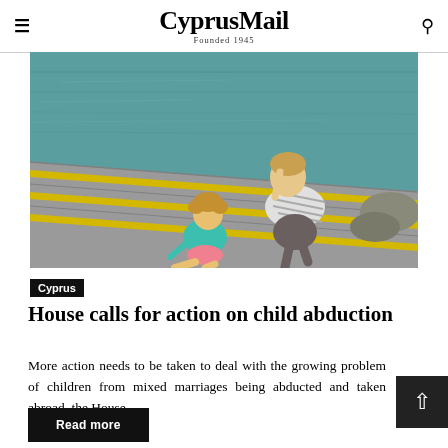CyprusMail — Founded 1945
[Figure (photo): An adult and young child sitting together on concrete steps with yellow stripes leading down to water, viewed from above.]
Cyprus
House calls for action on child abduction
More action needs to be taken to deal with the growing problem of children from mixed marriages being abducted and taken abroad, the House...
Read more